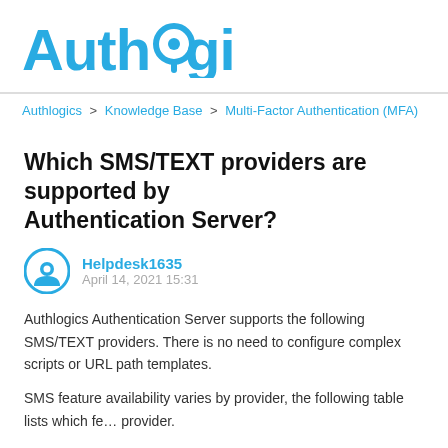Authlogics
Authlogics > Knowledge Base > Multi-Factor Authentication (MFA)
Which SMS/TEXT providers are supported by Authentication Server?
Helpdesk1635
April 14, 2021 15:31
Authlogics Authentication Server supports the following SMS/TEXT providers. There is no need to configure complex scripts or URL path templates.
SMS feature availability varies by provider, the following table lists which features are available per provider.